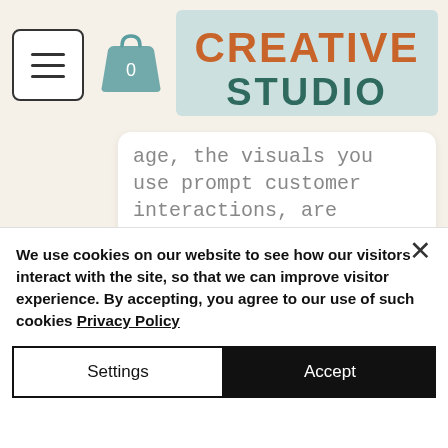[Figure (screenshot): Website header with hamburger menu button, shopping bag icon with '0', and Creative Studio logo on light beige background]
age, the visuals you use prompt customer interactions, are crucial to your online success. This can be video, infographics, illustrations, photos and codes. Think about how they fit together and what will delight your audience
6 Create keyword rich, Client focused copy
We use cookies on our website to see how our visitors interact with the site, so that we can improve visitor experience. By accepting, you agree to our use of such cookies Privacy Policy
Settings
Accept